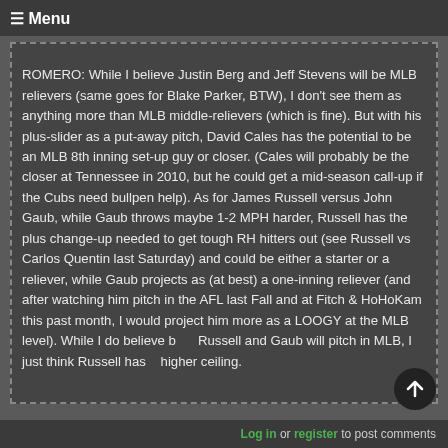≡ Menu
ROMERO: While I believe Justin Berg and Jeff Stevens will be MLB relievers (same goes for Blake Parker, BTW), I don't see them as anything more than MLB middle-relievers (which is fine). But with his plus-slider as a put-away pitch, David Cales has the potential to be an MLB 8th inning set-up guy or closer. (Cales will probably be the closer at Tennessee in 2010, but he could get a mid-season call-up if the Cubs need bullpen help). As for James Russell versus John Gaub, while Gaub throws maybe 1-2 MPH harder, Russell has the plus change-up needed to get tough RH hitters out (see Russell vs Carlos Quentin last Saturday) and could be either a starter or a reliever, while Gaub projects as (at best) a one-inning reliever (and after watching him pitch in the AFL last Fall and at Fitch & HoHoKam this past month, I would project him more as a LOOGY at the MLB level). While I do believe both Russell and Gaub will pitch in MLB, I just think Russell has a higher ceiling.
Log in or register to post comments